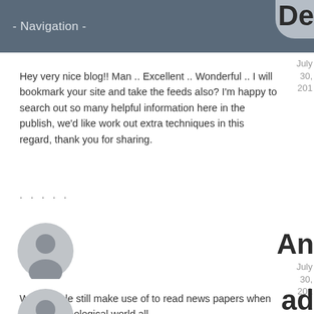- Navigation -
Hey very nice blog!! Man .. Excellent .. Wonderful .. I will bookmark your site and take the feeds also? I'm happy to search out so many helpful information here in the publish, we'd like work out extra techniques in this regard, thank you for sharing.
. . . . .
[Figure (illustration): Gray user avatar circle icon]
An
July 30, 201
Why people still make use of to read news papers when in this technological world all is available on web?
[Figure (illustration): Gray user avatar circle icon partially visible at bottom]
ad